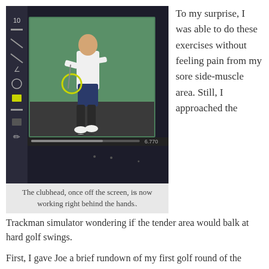[Figure (photo): A golf simulator screen showing a person mid-swing, with a green backdrop on screen. A yellow circle highlights the clubhead area near the hands. The interface has tool icons on the left side and a dark surround.]
The clubhead, once off the screen, is now working right behind the hands.
To my surprise, I was able to do these exercises without feeling pain from my sore side-muscle area. Still, I approached the Trackman simulator wondering if the tender area would balk at hard golf swings.
First, I gave Joe a brief rundown of my first golf round of the season: “I hit some decent shots that incorporated what we’ve been working on, but not enough of them.”